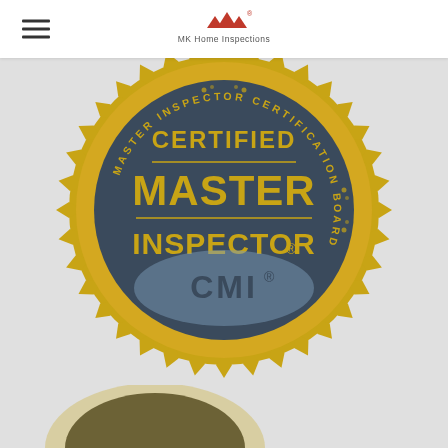MK Home Inspections
[Figure (logo): Certified Master Inspector CMI badge - gold seal with dark blue/slate center, text reading CERTIFIED MASTER INSPECTOR CMI with MASTER INSPECTOR CERTIFICATION BOARD around the perimeter]
[Figure (logo): Partial view of another certification badge at the bottom of the page]